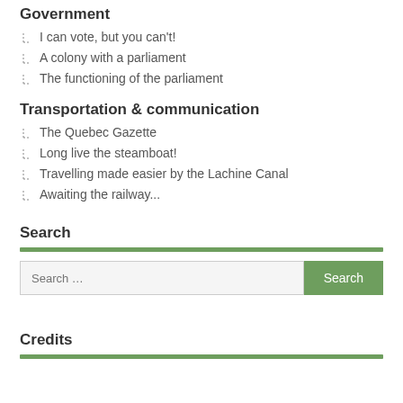Government
I can vote, but you can't!
A colony with a parliament
The functioning of the parliament
Transportation & communication
The Quebec Gazette
Long live the steamboat!
Travelling made easier by the Lachine Canal
Awaiting the railway...
Search
Credits